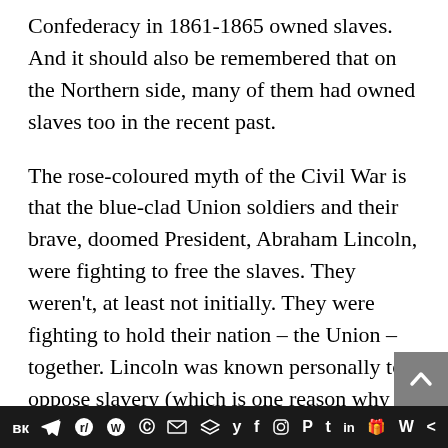Confederacy in 1861-1865 owned slaves. And it should also be remembered that on the Northern side, many of them had owned slaves too in the recent past.
The rose-coloured myth of the Civil War is that the blue-clad Union soldiers and their brave, doomed President, Abraham Lincoln, were fighting to free the slaves. They weren't, at least not initially. They were fighting to hold their nation – the Union – together. Lincoln was known personally to oppose slavery (which is one reason why the South seceded after his election in 1860), but his chief goal was preserving the Union. In August 1862, he
вк ✈ reddit WordPress © ✉ ≡ y f Instagram P t in 🎁 W <